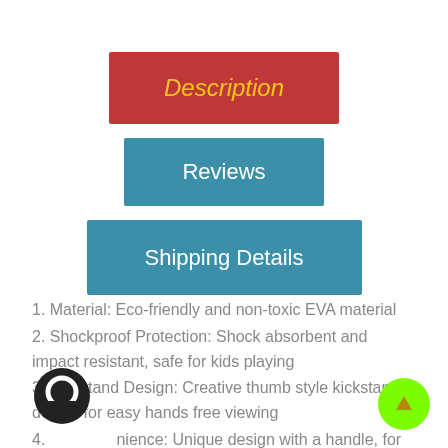Description
Reviews
Shipping Details
1. Material: Eco-friendly and non-toxic EVA material
2. Shockproof Protection: Shock absorbent and impact resistant, safe for kids playing
3. Kickstand Design: Creative thumb style kickstand design for easy hands free viewing
4. [Handle] Convenience: Unique design with a handle, for conveniently holding and carrying
5. Full Protection: Provide a full protection from dust, shock,